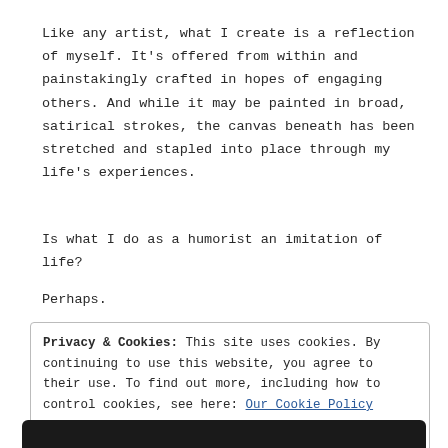Like any artist, what I create is a reflection of myself. It's offered from within and painstakingly crafted in hopes of engaging others. And while it may be painted in broad, satirical strokes, the canvas beneath has been stretched and stapled into place through my life's experiences.
Is what I do as a humorist an imitation of life?
Perhaps.
Privacy & Cookies: This site uses cookies. By continuing to use this website, you agree to their use. To find out more, including how to control cookies, see here: Our Cookie Policy
Close and accept